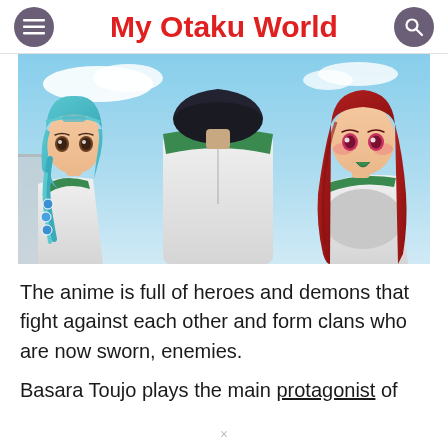My Otaku World
[Figure (illustration): Anime scene showing three characters in school uniforms with green accents: a girl with teal/cyan hair on the left, a tall male character in the center seen from behind, and a girl with long red hair on the right. Blue sky background.]
The anime is full of heroes and demons that fight against each other and form clans who are now sworn, enemies.
Basara Toujo plays the main protagonist of